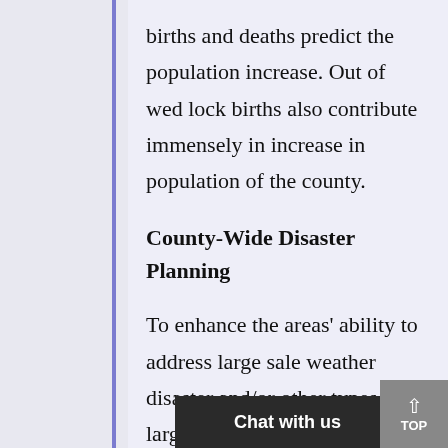births and deaths predict the population increase. Out of wed lock births also contribute immensely in increase in population of the county.
County-Wide Disaster Planning
To enhance the areas' ability to address large sale weather disaster and/or other types of large scale disaster the county should focus on the following key action:
C…es in